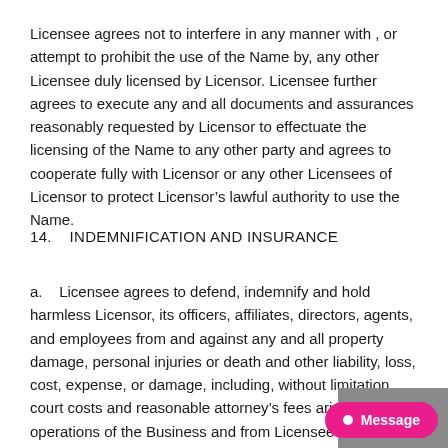Licensee agrees not to interfere in any manner with , or attempt to prohibit the use of the Name by, any other Licensee duly licensed by Licensor. Licensee further agrees to execute any and all documents and assurances reasonably requested by Licensor to effectuate the licensing of the Name to any other party and agrees to cooperate fully with Licensor or any other Licensees of Licensor to protect Licensor’s lawful authority to use the Name.
14.   INDEMNIFICATION AND INSURANCE
a.   Licensee agrees to defend, indemnify and hold harmless Licensor, its officers, affiliates, directors, agents, and employees from and against any and all property damage, personal injuries or death and other liability, loss, cost, expense, or damage, including, without limitation, court costs and reasonable attorney’s fees arising out of operations of the Business and from Licensee’s breach of any of the terms contained herein.